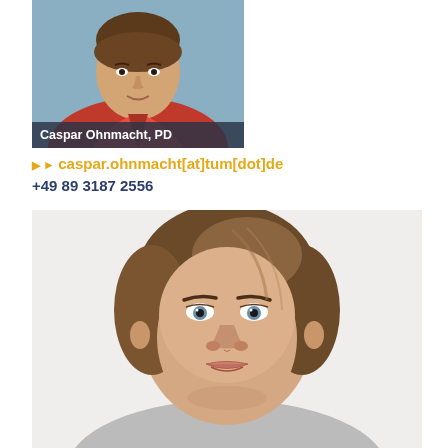[Figure (photo): Headshot photo of Caspar Ohnmacht, PD wearing a red jacket]
Caspar Ohnmacht, PD
caspar.ohnmacht[at]tum[dot]de
+49 89 3187 2556
[Figure (photo): Close-up headshot photo of a woman with short brown hair and blue eyes against a white background]